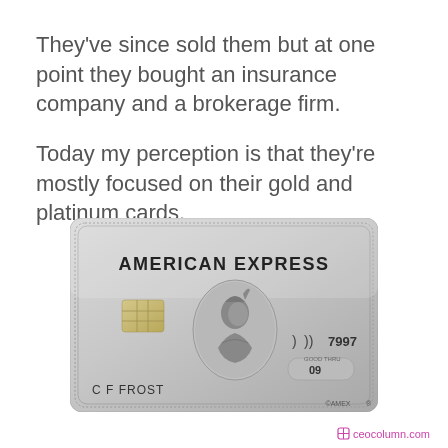They've since sold them but at one point they bought an insurance company and a brokerage firm.
Today my perception is that they're mostly focused on their gold and platinum cards.
[Figure (photo): American Express Platinum credit card (metallic silver) with the centurion figure, chip, contactless symbol, last 4 digits 7997, expiry 09, and cardholder name C F FROST]
ceocolumn.com